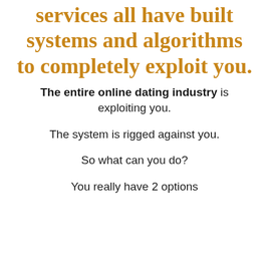services all have built systems and algorithms to completely exploit you.
The entire online dating industry is exploiting you.
The system is rigged against you.
So what can you do?
You really have 2 options